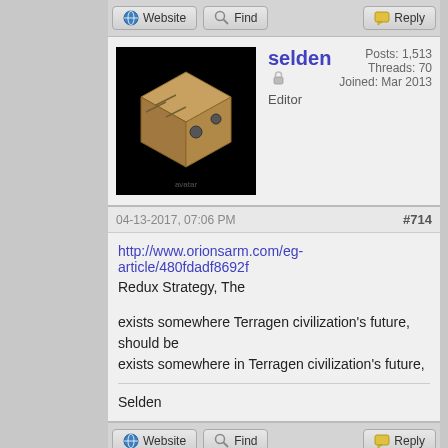Website | Find | Reply (action buttons)
selden  Editor  Posts: 1,513  Threads: 70  Joined: Mar 2013
04-13-2017, 07:06 PM  #714
http://www.orionsarm.com/eg-article/480fdadf8692f
Redux Strategy, The

exists somewhere Terragen civilization's future, should be
exists somewhere in Terragen civilization's future,
Selden
Website | Find | Reply (action buttons)
selden  Editor  Posts: 1,513  Threads: 70  Joined: Mar 2013